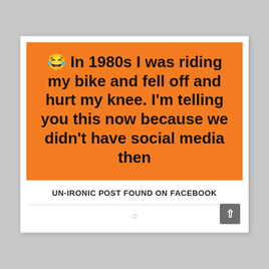[Figure (illustration): Orange background meme image with laughing emoji and bold black text: '😂 In 1980s I was riding my bike and fell off and hurt my knee. I'm telling you this now because we didn't have social media then']
UN-IRONIC POST FOUND ON FACEBOOK